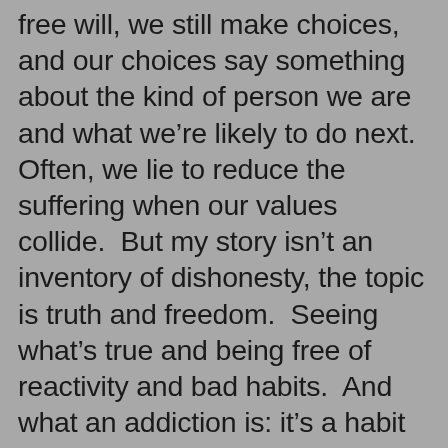free will, we still make choices, and our choices say something about the kind of person we are and what we're likely to do next.  Often, we lie to reduce the suffering when our values collide.  But my story isn't an inventory of dishonesty, the topic is truth and freedom.  Seeing what's true and being free of reactivity and bad habits.  And what an addiction is: it's a habit that blinds and misleads us.  And lying greases the skid into the offside ditch.  Axiom: not all liars are addicts, but all addicts are liars.  I was abstinent from drugs, and that's great, but I was not whole-heartedly present.  I was still sometimes, too often, failing to show up in the world of the people I love: for example, my wife, my granddaughters.  This real woman and these two lovely girls, for